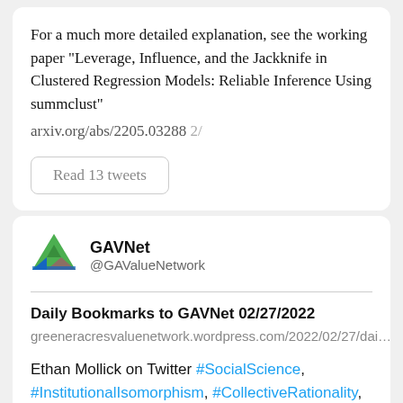For a much more detailed explanation, see the working paper "Leverage, Influence, and the Jackknife in Clustered Regression Models: Reliable Inference Using summclust"
arxiv.org/abs/2205.03288 2/
Read 13 tweets
GAVNet @GAValueNetwork
Daily Bookmarks to GAVNet 02/27/2022
greeneracresvaluenetwork.wordpress.com/2022/02/27/dai…
Ethan Mollick on Twitter #SocialScience, #InstitutionalIsomorphism, #CollectiveRationality, #OrganizationalFields